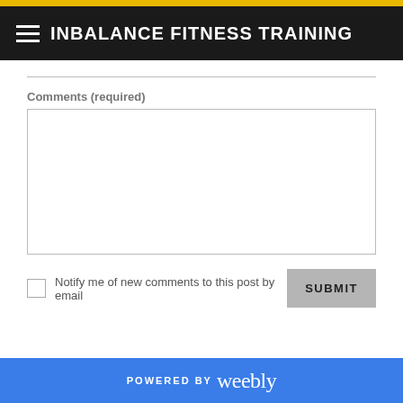INBALANCE FITNESS TRAINING
Comments (required)
[Figure (screenshot): Empty comment text area input box with border]
Notify me of new comments to this post by email
POWERED BY weebly